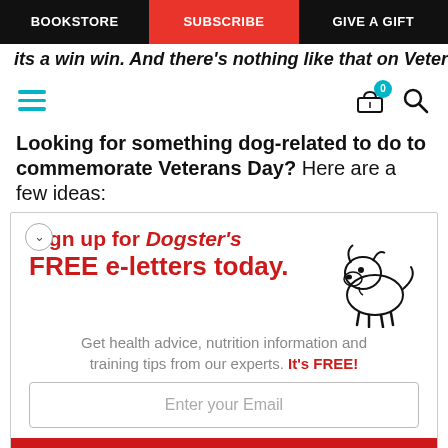BOOKSTORE | SUBSCRIBE | GIVE A GIFT
its a win win. And there's nothing like that on Veterans
[Figure (infographic): Hamburger menu icon (teal/cyan lines), cart icon with badge showing 0, and search magnifying glass icon]
Looking for something dog-related to do to commemorate Veterans Day? Here are a few ideas:
[Figure (infographic): Dogster newsletter signup popup: 'Sign up for Dogster's FREE e-letters today.' with cartoon dog illustration, subtitle 'Get health advice, nutrition information and training tips from our experts. It's FREE!', email input field, and YES! SIGN ME UP button]